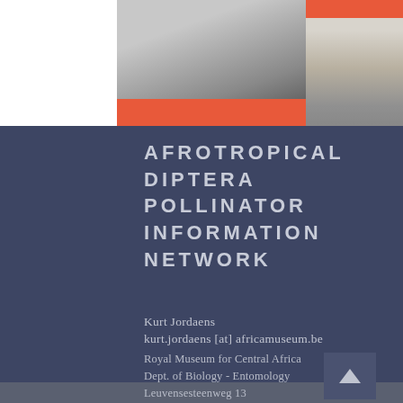[Figure (photo): Top banner area with orange background, two photos: left photo shows outdoor scene with gray tones, right photo shows building with columns]
AFROTROPICAL DIPTERA POLLINATOR INFORMATION NETWORK
Kurt Jordaens
kurt.jordaens [at] africamuseum.be
Royal Museum for Central Africa
Dept. of Biology - Entomology
Leuvensesteenweg 13
B-3080 Tervuren
Belgium